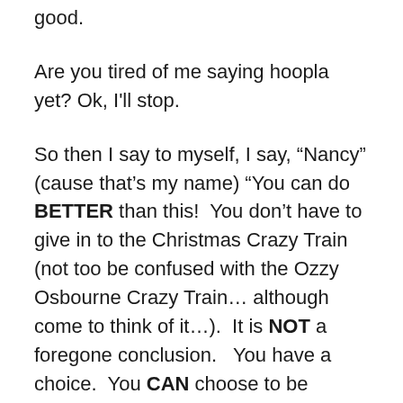good.
Are you tired of me saying hoopla yet? Ok, I'll stop.
So then I say to myself, I say, “Nancy” (cause that’s my name) “You can do BETTER than this!  You don’t have to give in to the Christmas Crazy Train (not too be confused with the Ozzy Osbourne Crazy Train… although come to think of it…).  It is NOT a foregone conclusion.   You have a choice.  You CAN choose to be reasonable.  To be responsible.  Even intentional. And draw… what are those things called again?… oh yeah.  Boundaries.
And I mean it.  I really do.